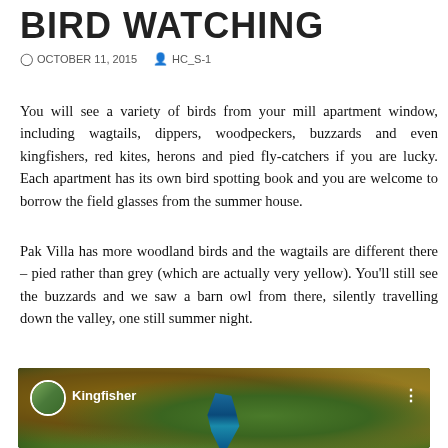BIRD WATCHING
OCTOBER 11, 2015  HC_S-1
You will see a variety of birds from your mill apartment window, including wagtails, dippers, woodpeckers, buzzards and even kingfishers, red kites, herons and pied fly-catchers if you are lucky. Each apartment has its own bird spotting book and you are welcome to borrow the field glasses from the summer house.
Pak Villa has more woodland birds and the wagtails are different there – pied rather than grey (which are actually very yellow). You'll still see the buzzards and we saw a barn owl from there, silently travelling down the valley, one still summer night.
[Figure (screenshot): YouTube-style video thumbnail showing a kingfisher bird with colorful bokeh background, channel icon circle, title 'Kingfisher', and three-dot menu icon]